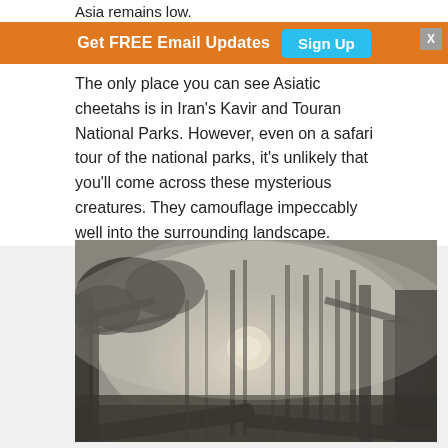Asia remains low.
Get FREE Email Updates  [Sign Up]  [X]
The only place you can see Asiatic cheetahs is in Iran's Kavir and Touran National Parks. However, even on a safari tour of the national parks, it's unlikely that you'll come across these mysterious creatures. They camouflage impeccably well into the surrounding landscape.
[Figure (photo): Black and white photograph of a misty forest with tall bare trees, fallen logs, and a faint sun visible through the fog, giving a moody, atmospheric appearance.]